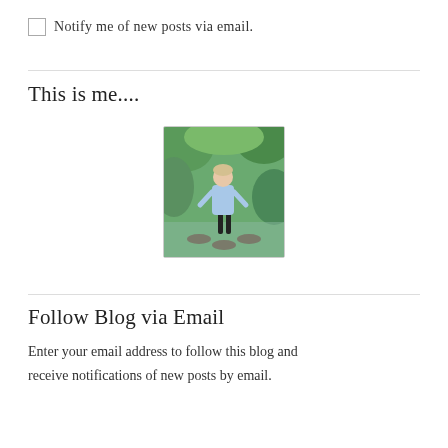Notify me of new posts via email.
This is me....
[Figure (photo): A person standing on stepping stones near a pond or stream, wearing a light blue top and dark pants, surrounded by green vegetation.]
Follow Blog via Email
Enter your email address to follow this blog and receive notifications of new posts by email.